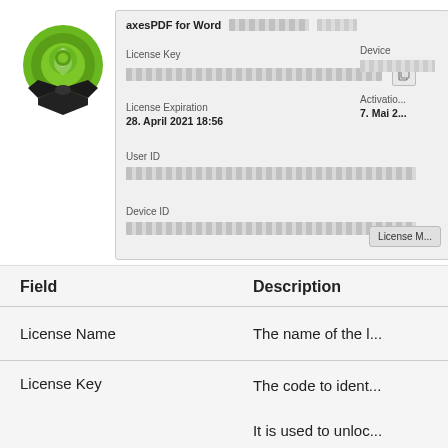[Figure (screenshot): Screenshot of axesPDF for Word license dialog showing license key, license expiration (28. April 2021 18:56), User ID, Device ID fields with blurred/redacted values, and a License Manager button. A green axes4 logo with a ribbon appears on the left side.]
| Field | Description |
| --- | --- |
| License Name | The name of the l... |
| License Key | The code to ident...

It is used to unloc... axes4 software.

By clicking the an... |